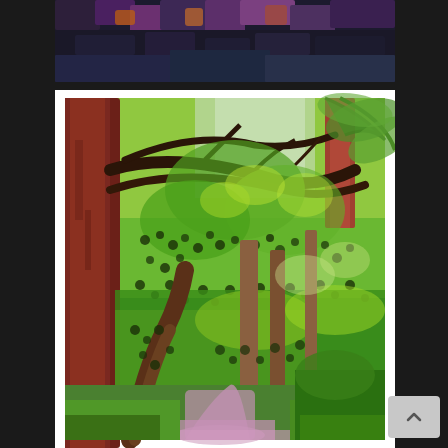[Figure (illustration): Top partial view of a colorful digital artwork with dark blues, purples, and orange mosaic-like pattern, likely the upper portion of a David Hockney iPad painting]
[Figure (illustration): Large digital painting of a lush green forest scene with tall dark reddish-brown tree trunks on the left, vibrant green dotted foliage, tropical-looking trees, and a pink/purple path at the bottom — characteristic of David Hockney's iPad artwork style. White border framing the print.]